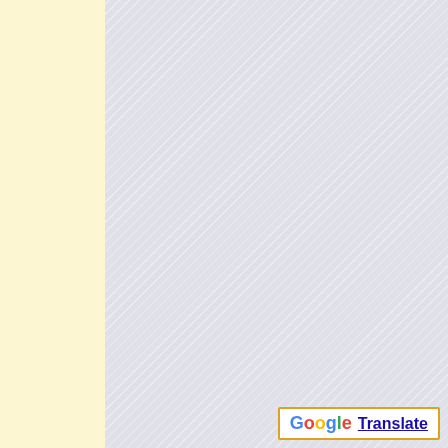undertaken in these projects aim to achieve the following objectives:
- Achieve greater awareness of the European projects and the